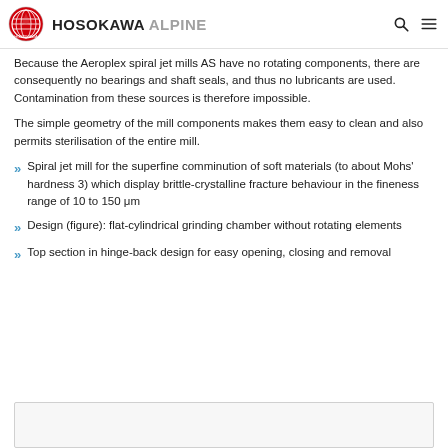HOSOKAWA ALPINE
Because the Aeroplex spiral jet mills AS have no rotating components, there are consequently no bearings and shaft seals, and thus no lubricants are used. Contamination from these sources is therefore impossible.
The simple geometry of the mill components makes them easy to clean and also permits sterilisation of the entire mill.
Spiral jet mill for the superfine comminution of soft materials (to about Mohs' hardness 3) which display brittle-crystalline fracture behaviour in the fineness range of 10 to 150 μm
Design (figure): flat-cylindrical grinding chamber without rotating elements
Top section in hinge-back design for easy opening, closing and removal
[Figure (other): Bottom image panel, partially visible]